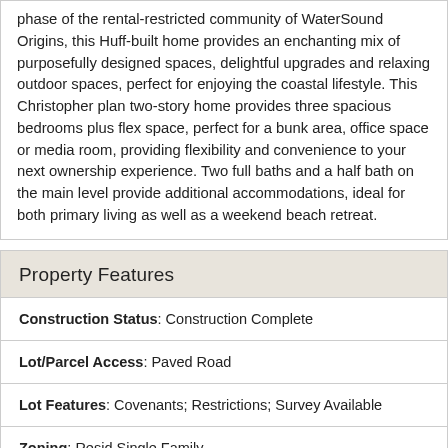phase of the rental-restricted community of WaterSound Origins, this Huff-built home provides an enchanting mix of purposefully designed spaces, delightful upgrades and relaxing outdoor spaces, perfect for enjoying the coastal lifestyle. This Christopher plan two-story home provides three spacious bedrooms plus flex space, perfect for a bunk area, office space or media room, providing flexibility and convenience to your next ownership experience. Two full baths and a half bath on the main level provide additional accommodations, ideal for both primary living as well as a weekend beach retreat.
Property Features
| Construction Status: Construction Complete |
| Lot/Parcel Access: Paved Road |
| Lot Features: Covenants; Restrictions; Survey Available |
| Zoning: Resid Single Family |
| Parking Features: Garage Attached |
| Project Facilities: Community Room; Dock; Exercise Room; Fishing; Golf; No Short Term Rental; Pavillion/Gazebo; Pets |